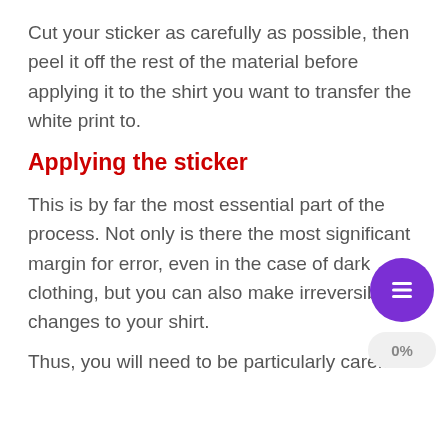Cut your sticker as carefully as possible, then peel it off the rest of the material before applying it to the shirt you want to transfer the white print to.
Applying the sticker
This is by far the most essential part of the process. Not only is there the most significant margin for error, even in the case of dark clothing, but you can also make irreversible changes to your shirt.
Thus, you will need to be particularly careful